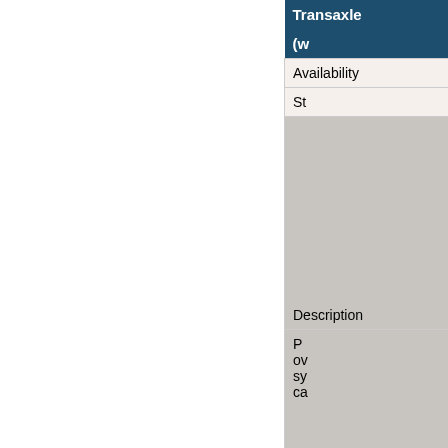| Transaxle | (w |
| --- | --- |
| Availability | St |
| Description | P ov sy ca |
| Gear Ratios: |  |
| 1st |  |
| 2nd |  |
| 3rd |  |
| 4th |  |
| 5th |  |
| Reverse |  |
| Final Drive |  |